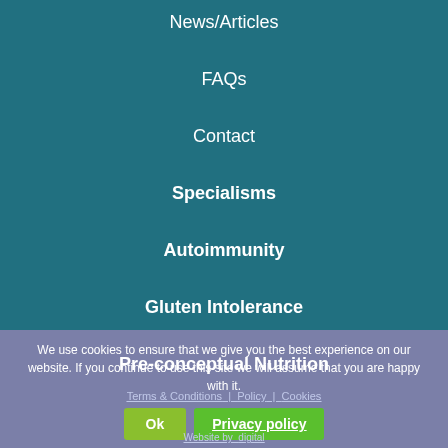News/Articles
FAQs
Contact
Specialisms
Autoimmunity
Gluten Intolerance
Pre-conceptual Nutrition
We use cookies to ensure that we give you the best experience on our website. If you continue to use this site we will assume that you are happy with it.
Terms & Conditions  Policy  Cookies
Ok  Privacy policy  digital